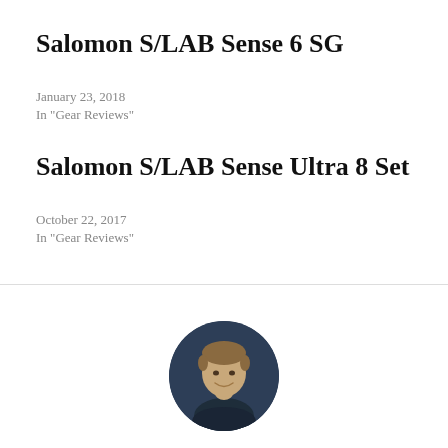Salomon S/LAB Sense 6 SG
January 23, 2018
In "Gear Reviews"
Salomon S/LAB Sense Ultra 8 Set
October 22, 2017
In "Gear Reviews"
[Figure (photo): Circular headshot of a man wearing a dark navy shirt, smiling, against a dark background.]
POSTED BY: